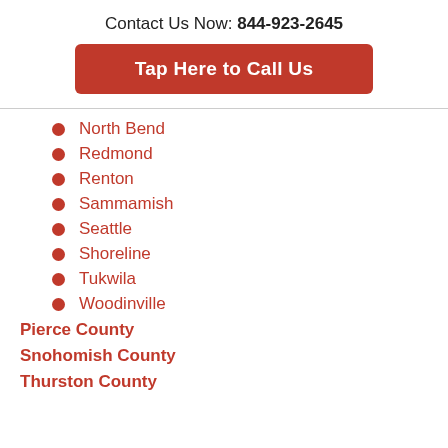Contact Us Now: 844-923-2645
Tap Here to Call Us
North Bend
Redmond
Renton
Sammamish
Seattle
Shoreline
Tukwila
Woodinville
Pierce County
Snohomish County
Thurston County